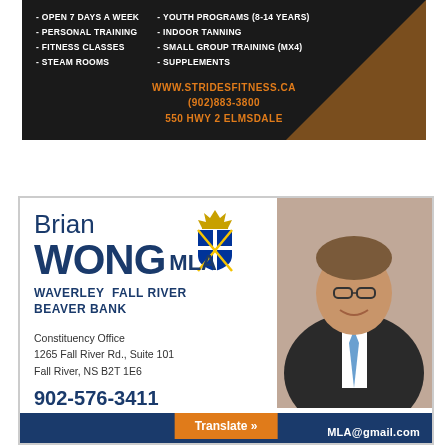[Figure (infographic): Strides Fitness advertisement with dark background, two-column feature list, contact info in orange, and brown triangle corner decoration]
- OPEN 7 DAYS A WEEK
- PERSONAL TRAINING
- FITNESS CLASSES
- STEAM ROOMS
-YOUTH PROGRAMS (8-14 YEARS)
- INDOOR TANNING
- SMALL GROUP TRAINING (MX4)
- SUPPLEMENTS
WWW.STRIDESFITNESS.CA
(902)883-3800
550 HWY 2 ELMSDALE
[Figure (infographic): Brian Wong MLA political advertisement with name, constituency (Waverley Fall River Beaver Bank), constituency office address, phone number 902-576-3411, email BrianWongMLA@gmail.com, Nova Scotia coat of arms, and photo of Brian Wong]
Brian WONG MLA
WAVERLEY FALL RIVER BEAVER BANK
Constituency Office
1265 Fall River Rd., Suite 101
Fall River, NS B2T 1E6
902-576-3411
BrianWongMLA@gmail.com